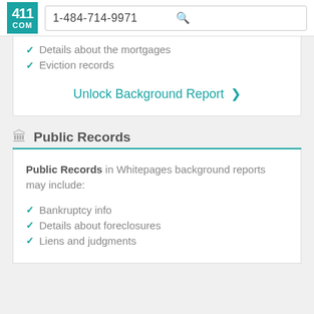411 COM  1-484-714-9971
Details about the mortgages
Eviction records
Unlock Background Report >
Public Records
Public Records in Whitepages background reports may include:
Bankruptcy info
Details about foreclosures
Liens and judgments